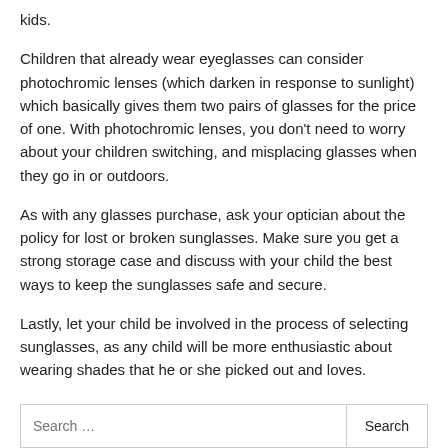kids.
Children that already wear eyeglasses can consider photochromic lenses (which darken in response to sunlight) which basically gives them two pairs of glasses for the price of one. With photochromic lenses, you don't need to worry about your children switching, and misplacing glasses when they go in or outdoors.
As with any glasses purchase, ask your optician about the policy for lost or broken sunglasses. Make sure you get a strong storage case and discuss with your child the best ways to keep the sunglasses safe and secure.
Lastly, let your child be involved in the process of selecting sunglasses, as any child will be more enthusiastic about wearing shades that he or she picked out and loves.